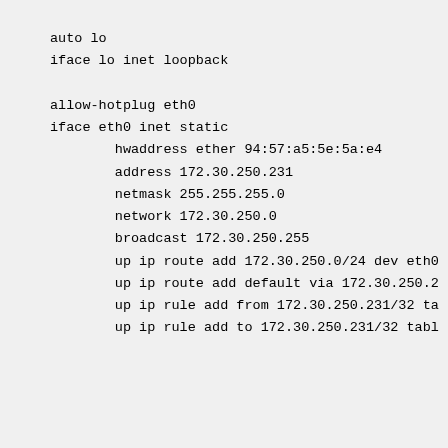auto lo
iface lo inet loopback

allow-hotplug eth0
iface eth0 inet static
        hwaddress ether 94:57:a5:5e:5a:e4
        address 172.30.250.231
        netmask 255.255.255.0
        network 172.30.250.0
        broadcast 172.30.250.255
        up ip route add 172.30.250.0/24 dev eth0
        up ip route add default via 172.30.250.2
        up ip rule add from 172.30.250.231/32 ta
        up ip rule add to 172.30.250.231/32 tabl